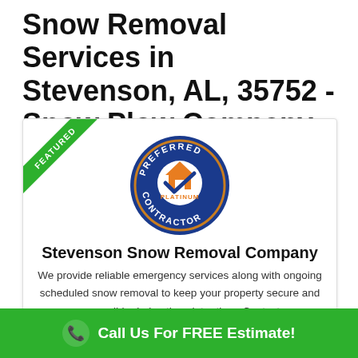Snow Removal Services in Stevenson, AL, 35752 - Snow Plow Company
[Figure (logo): Preferred Contractor Platinum badge - circular blue and orange badge with checkmark and house icon]
Stevenson Snow Removal Company
We provide reliable emergency services along with ongoing scheduled snow removal to keep your property secure and accessible during the winter time. Contact
Call Us For FREE Estimate!